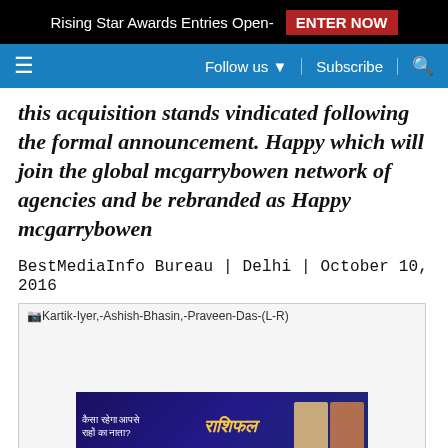Rising Star Awards Entries Open- ENTER NOW
≡  Follow us ▼  |  Subscribe  |  🔍
this acquisition stands vindicated following the formal announcement. Happy which will join the global mcgarrybowen network of agencies and be rebranded as Happy mcgarrybowen
BestMediaInfo Bureau | Delhi | October 10, 2016
[Figure (photo): Kartik-Iyer,-Ashish-Bhasin,-Praveen-Das-(L-R) - image with advertisement banner at the bottom showing Hindi text]